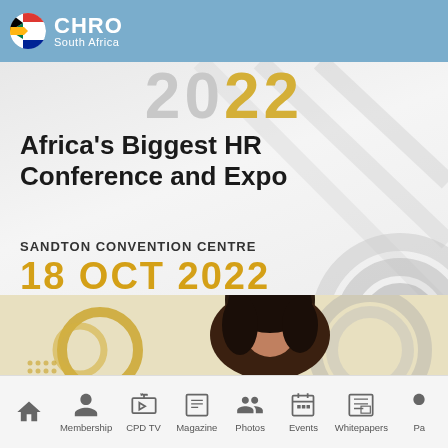CHRO South Africa
[Figure (infographic): CHRO South Africa 2022 conference banner showing 'Africa's Biggest HR Conference and Expo' at Sandton Convention Centre on 18 Oct 2022 with a Register for Free button and a woman's photo]
Africa's Biggest HR Conference and Expo
SANDTON CONVENTION CENTRE
18 OCT 2022
REGISTER FOR FREE
Membership  CPD TV  Magazine  Photos  Events  Whitepapers  Pa...